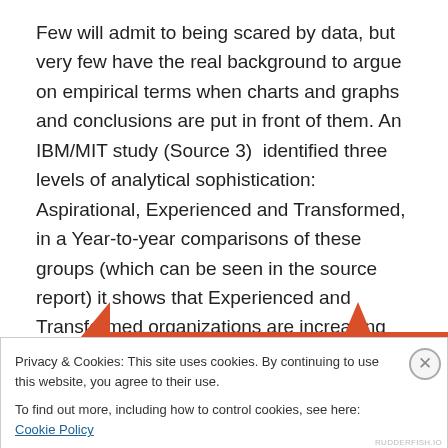Few will admit to being scared by data, but very few have the real background to argue on empirical terms when charts and graphs and conclusions are put in front of them. An IBM/MIT study (Source 3)  identified three levels of analytical sophistication: Aspirational, Experienced and Transformed, in a Year-to-year comparisons of these groups (which can be seen in the source report) it shows that Experienced and Transformed organizations are increasing their analytical capabilities, significantly.
[Figure (other): Red/orange upward-pointing arrows on left and right sides of a horizontal bar, indicating navigation or expansion]
Privacy & Cookies: This site uses cookies. By continuing to use this website, you agree to their use.
To find out more, including how to control cookies, see here: Cookie Policy